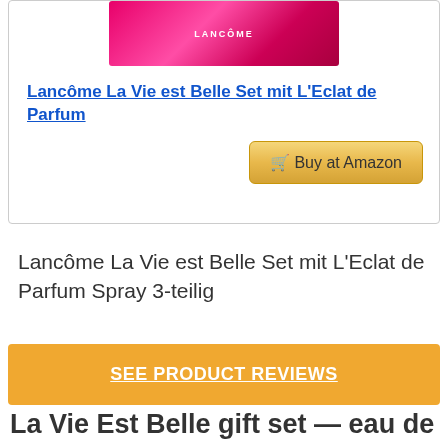[Figure (photo): Lancôme product box in pink/magenta color with Lancôme Paris logo, partially visible at top of card]
Lancôme La Vie est Belle Set mit L'Eclat de Parfum
🛒 Buy at Amazon
Lancôme La Vie est Belle Set mit L'Eclat de Parfum Spray 3-teilig
SEE PRODUCT REVIEWS
La Vie Est Belle gift set — eau de